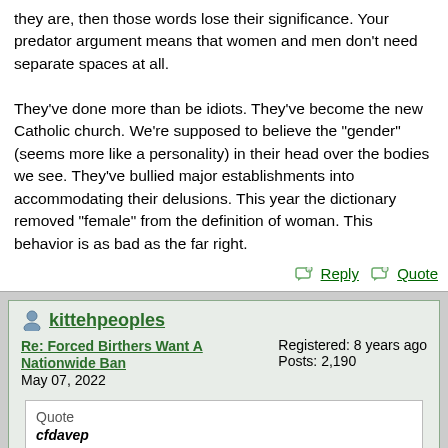they are, then those words lose their significance. Your predator argument means that women and men don't need separate spaces at all.
They've done more than be idiots. They've become the new Catholic church. We're supposed to believe the "gender" (seems more like a personality) in their head over the bodies we see. They've bullied major establishments into accommodating their delusions. This year the dictionary removed "female" from the definition of woman. This behavior is as bad as the far right.
Reply  Quote
kittehpeoples
Re: Forced Birthers Want A Nationwide Ban
May 07, 2022
Registered: 8 years ago
Posts: 2,190
Quote
cfdavep
https://www.yahoo.com/news/louisiana-life-opposes-bill-could-235438988.html